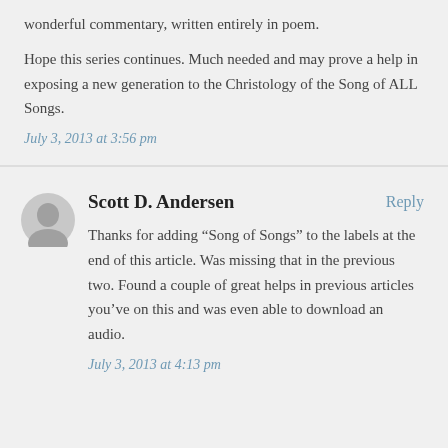wonderful commentary, written entirely in poem.
Hope this series continues. Much needed and may prove a help in exposing a new generation to the Christology of the Song of ALL Songs.
July 3, 2013 at 3:56 pm
Scott D. Andersen
Reply
Thanks for adding “Song of Songs” to the labels at the end of this article. Was missing that in the previous two. Found a couple of great helps in previous articles you’ve on this and was even able to download an audio.
July 3, 2013 at 4:13 pm